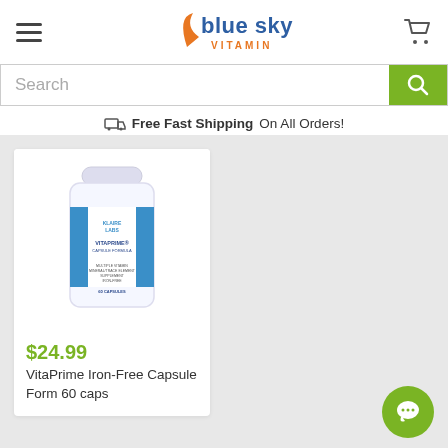[Figure (logo): Blue Sky Vitamin logo with orange swoosh and blue/gray text]
[Figure (screenshot): Search bar with green search button]
Free Fast Shipping On All Orders!
[Figure (photo): Klaire Labs VitaPrime Iron-Free Capsule Formula supplement bottle]
$24.99
VitaPrime Iron-Free Capsule Form 60 caps